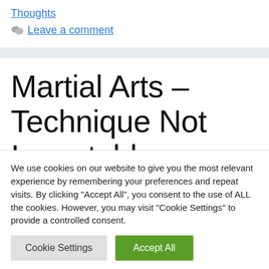Thoughts
Leave a comment
Martial Arts – Technique Not Immutable
We use cookies on our website to give you the most relevant experience by remembering your preferences and repeat visits. By clicking "Accept All", you consent to the use of ALL the cookies. However, you may visit "Cookie Settings" to provide a controlled consent.